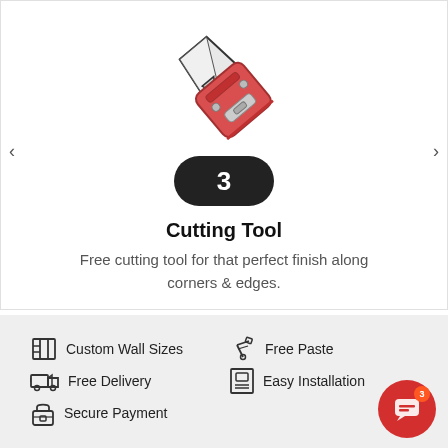[Figure (illustration): Illustration of a red utility/cutting knife tool angled diagonally]
3
Cutting Tool
Free cutting tool for that perfect finish along corners & edges.
Custom Wall Sizes
Free Paste
Free Delivery
Easy Installation
Secure Payment